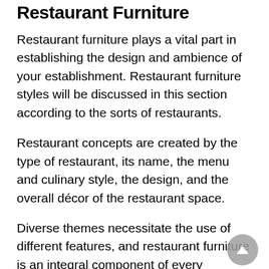Restaurant Furniture
Restaurant furniture plays a vital part in establishing the design and ambience of your establishment. Restaurant furniture styles will be discussed in this section according to the sorts of restaurants.
Restaurant concepts are created by the type of restaurant, its name, the menu and culinary style, the design, and the overall décor of the restaurant space.
Diverse themes necessitate the use of different features, and restaurant furniture is an integral component of every successful